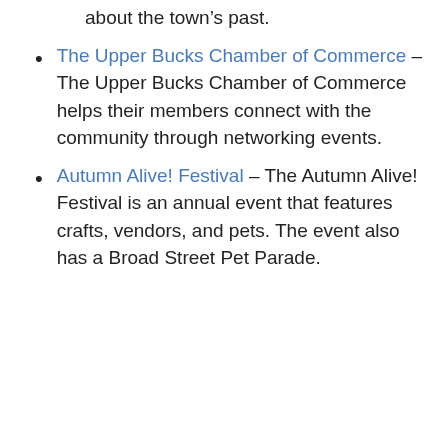about the town's past.
The Upper Bucks Chamber of Commerce – The Upper Bucks Chamber of Commerce helps their members connect with the community through networking events.
Autumn Alive! Festival – The Autumn Alive! Festival is an annual event that features crafts, vendors, and pets. The event also has a Broad Street Pet Parade.